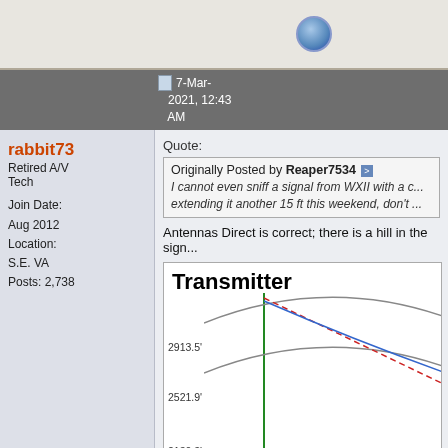[Figure (screenshot): Top bar with avatar circle icon on grey background]
7-Mar-2021, 12:43 AM
rabbit73
Retired A/V Tech
Join Date: Aug 2012
Location: S.E. VA
Posts: 2,738
Quote:
Originally Posted by Reaper7534
I cannot even sniff a signal from WXII with a c... extending it another 15 ft this weekend, don't ...
Antennas Direct is correct; there is a hill in the sign...
[Figure (engineering-diagram): Signal path diagram showing Transmitter label, curved lines representing earth curvature and signal paths, Y-axis labels at 2913.5, 2521.9, 2130.3, and caption 'Red line is direct signal path']